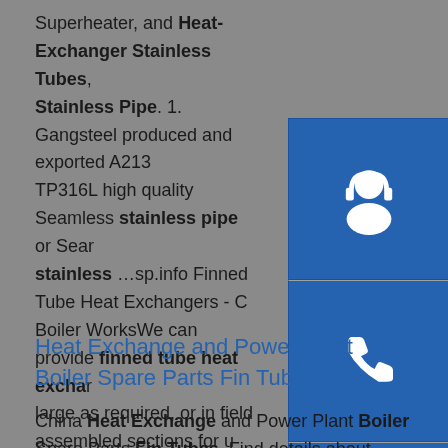Superheater, and Heat-Exchanger Stainless Tubes, Stainless Pipe. 1. Gangsteel produced and exported A213 TP316L high quality Seamless stainless pipe or Sear stainless …sp.info Finned Tube Heat Exchangers - C Boiler WorksWe can provide finned tube heat exchar large as required, or in field assembled sections for u large to ship. Typical materials of construction for tubes - both seamless and welded, are carbon steel, brass alloys, nickel alloys, stainless steel, and nickel alloys.
[Figure (illustration): Three blue square icon buttons stacked vertically on the right side: headset/customer service icon, phone icon, and Skype icon]
Heat Exchange and Power Plant Boiler Spare Parts Fin Tubes
China Heat Exchange and Power Plant Boiler Spare Parts Fin Tubes, Find details about China Fin Tubes, Boiler Fin Tubes from Heat Exchange and Power Plant Boiler Spare